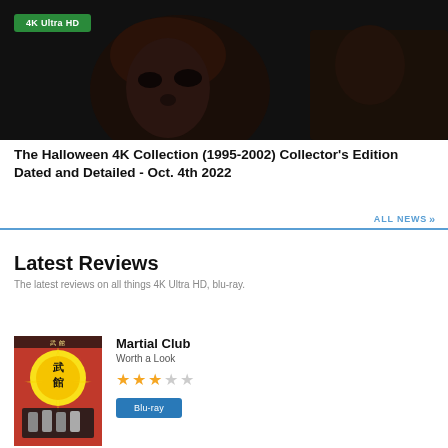[Figure (photo): Dark cinematic movie still showing a person's face in low light, with a '4K Ultra HD' green badge in the top left corner]
The Halloween 4K Collection (1995-2002) Collector's Edition Dated and Detailed - Oct. 4th 2022
ALL NEWS >>
Latest Reviews
The latest reviews on all things 4K Ultra HD, blu-ray.
[Figure (photo): Blu-ray cover for Martial Club - red cover with Chinese characters and artwork]
Martial Club
Worth a Look
★★★☆☆ (3 out of 5 stars)
Blu-ray